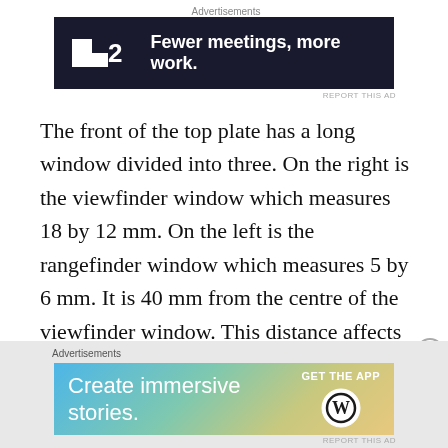[Figure (other): Advertisement banner: dark navy background with white F2 logo and text 'Fewer meetings, more work.']
The front of the top plate has a long window divided into three. On the right is the viewfinder window which measures 18 by 12 mm. On the left is the rangefinder window which measures 5 by 6 mm. It is 40 mm from the centre of the viewfinder window. This distance affects the accuracy of the rangefinder – the further apart the better. My Voigtländer CLR only has 28 mm, my Zeiss Ikon Contessa LKE has 25 mm, my Yashica Minister D
[Figure (other): Advertisement banner: gradient background (blue to gold) with text 'Create immersive stories.' and WordPress logo with 'GET THE APP']